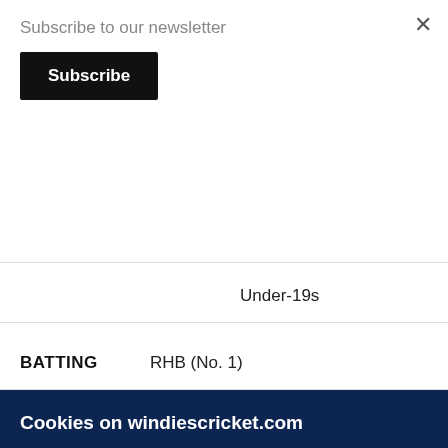Subscribe to our newsletter
Subscribe
Under-19s
BATTING    RHB (No. 1)
Cookies on windiescricket.com
Windiescricket.com uses cookies to improve the user experience and provide appropriate information which we may in the future personalise for you. If you continue on this website you will be providing your consent to our use of these cookies.
More information
Accept